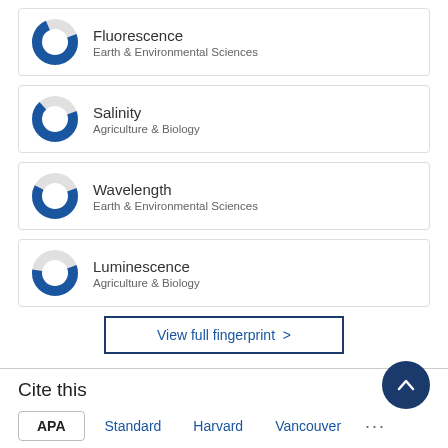Fluorescence | Earth & Environmental Sciences
Salinity | Agriculture & Biology
Wavelength | Earth & Environmental Sciences
Luminescence | Agriculture & Biology
View full fingerprint >
Cite this
APA  Standard  Harvard  Vancouver  ...